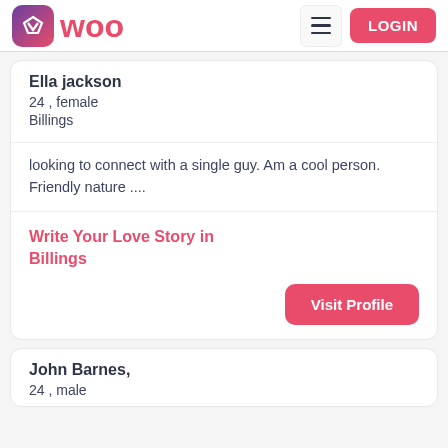WOO — LOGIN
Ella jackson
24 , female
Billings
looking to connect with a single guy. Am a cool person. Friendly nature ....
Write Your Love Story in Billings
Visit Profile
John Barnes,
24 , male